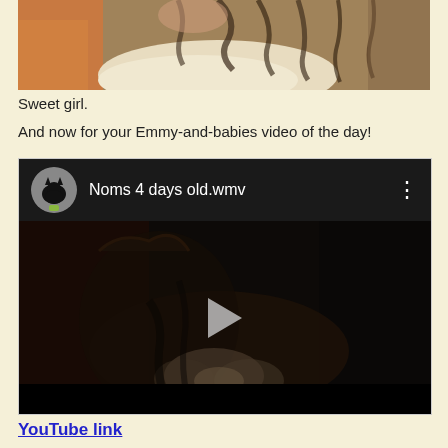[Figure (photo): Close-up photo of a cat, showing fur and pink belly/skin area at top of page]
Sweet girl.
And now for your Emmy-and-babies video of the day!
[Figure (screenshot): YouTube video player showing 'Noms 4 days old.wmv' with a dark thumbnail of a cat and kittens, with a play button in the center. Video header shows circular avatar of a black cat and three-dot menu.]
YouTube link